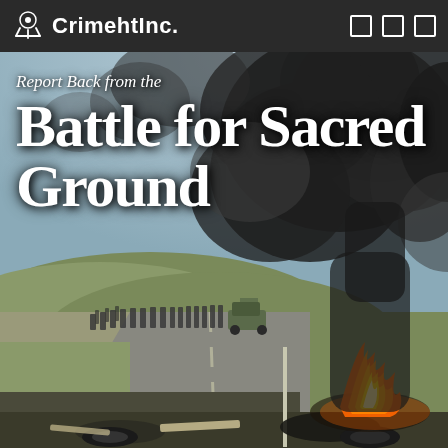CrimehtInc.
[Figure (photo): Protest scene at Standing Rock: riot police in formation advancing along a road, military vehicle visible, large black smoke cloud rising from burning tires and debris in the foreground on the right side]
Report Back from the Battle for Sacred Ground